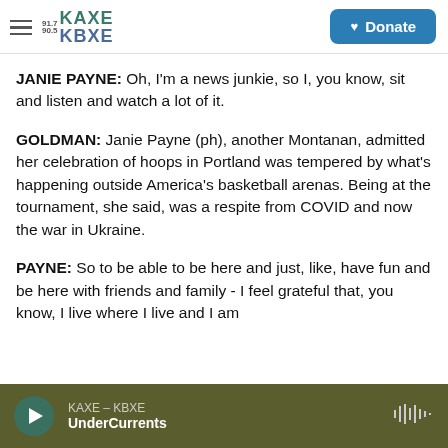KAXE 91.7 KBXE 90.5 — Donate
JANIE PAYNE: Oh, I'm a news junkie, so I, you know, sit and listen and watch a lot of it.
GOLDMAN: Janie Payne (ph), another Montanan, admitted her celebration of hoops in Portland was tempered by what's happening outside America's basketball arenas. Being at the tournament, she said, was a respite from COVID and now the war in Ukraine.
PAYNE: So to be able to be here and just, like, have fun and be here with friends and family - I feel grateful that, you know, I live where I live and I am
KAXE – KBXE UnderCurrents